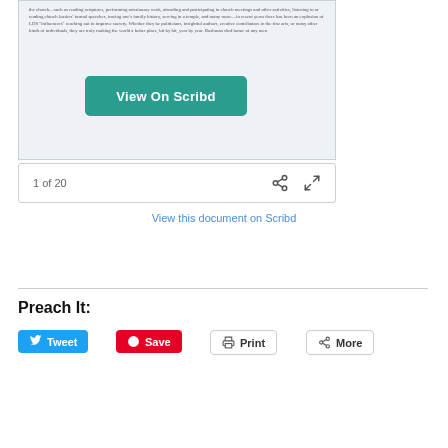[Figure (screenshot): Scribd document preview showing text about church activities and LDS influencers, with a teal 'View On Scribd' button overlaid on the document]
1 of 20
View this document on Scribd
Preach It:
Tweet
Save
Print
More